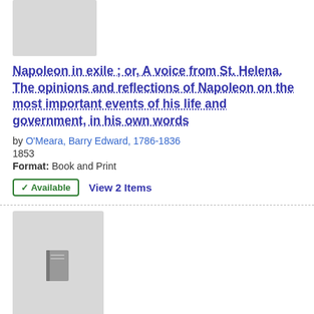[Figure (illustration): Gray placeholder rectangle for book cover image, top of page]
Napoleon in exile ; or, A voice from St. Helena. The opinions and reflections of Napoleon on the most important events of his life and government, in his own words
by O'Meara, Barry Edward, 1786-1836
1853
Format: Book and Print
✔ Available   View 2 Items
[Figure (illustration): Gray placeholder rectangle with small book icon for second book cover image]
Narrative of a mission to Central Africa : performed in the years 1850-51.
by Richardson, James, 1806-1851